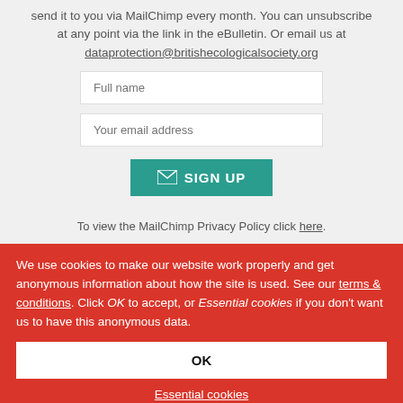send it to you via MailChimp every month. You can unsubscribe at any point via the link in the eBulletin. Or email us at dataprotection@britishecologicalsociety.org
[Figure (other): Web form with Full name and Your email address input fields and a teal SIGN UP button with envelope icon]
To view the MailChimp Privacy Policy click here.
We use cookies to make our website work properly and get anonymous information about how the site is used. See our terms & conditions. Click OK to accept, or Essential cookies if you don't want us to have this anonymous data.
OK
Essential cookies